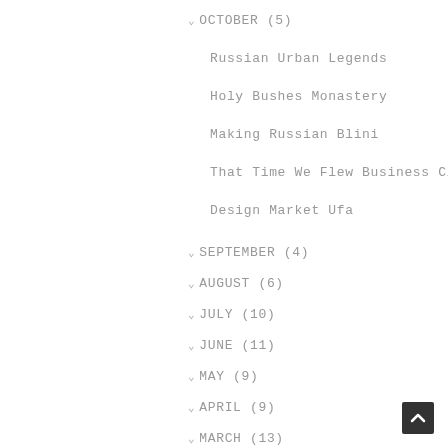▾ OCTOBER (5)
Russian Urban Legends
Holy Bushes Monastery
Making Russian Blini
That Time We Flew Business Class
Design Market Ufa
▾ SEPTEMBER (4)
▾ AUGUST (6)
▾ JULY (10)
▾ JUNE (11)
▾ MAY (9)
▾ APRIL (9)
▾ MARCH (13)
▾ FEBRUARY (5)
▾ JANUARY (12)
▾ 2015 (35)
▾ 2014 (11)
▾ 2013 (58)
▾ 2012 (94)
▾ 2011 (70)